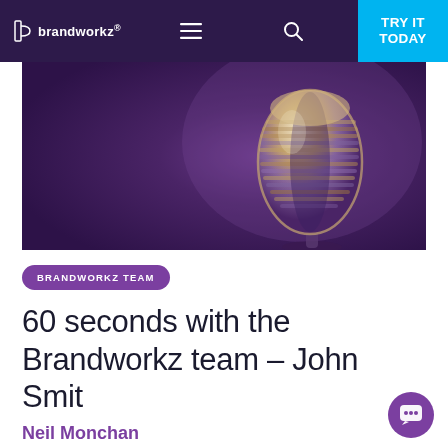brandworkz. | TRY IT TODAY
[Figure (photo): A vintage gold/silver microphone on a purple background, photographed from below at an angle, showing the classic horizontal grille bars and chrome body.]
BRANDWORKZ TEAM
60 seconds with the Brandworkz team – John Smit
Neil Monchan